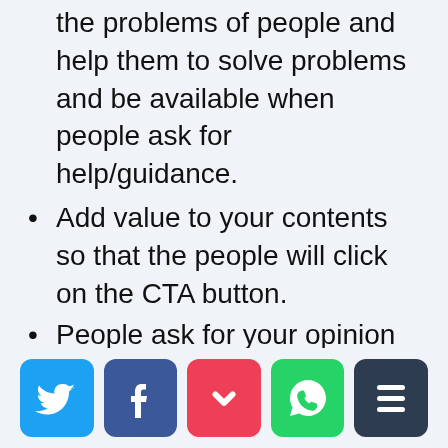the problems of people and help them to solve problems and be available when people ask for help/guidance.
Add value to your contents so that the people will click on the CTA button.
People ask for your opinion then give the real & honest opinion. Don't lie only for increasing sales. Your comparison & reviews must be unbiased.
[Figure (infographic): Social sharing buttons: Twitter (blue), Facebook (dark blue), Pocket (red), WhatsApp (green), Buffer (dark grey)]